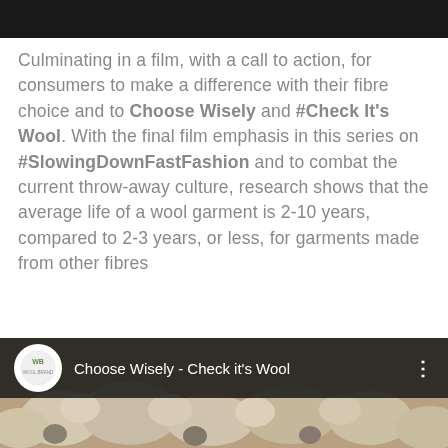[Figure (screenshot): Black top navigation bar]
Culminating in a film, with a call to action, for consumers to make a difference with their fibre choice and to Choose Wisely and #Check It's Wool. With the final film emphasis in this series on #SlowingDownFastFashion and to combat the current throw-away culture, research shows that the average life of a wool garment is 2-10 years, compared to 2-3 years, or less, for garments made from other fibres
[Figure (screenshot): Video thumbnail bar showing circular logo with 'Choose Wisely - Check it's Wool' title on dark overlay, sheep image below]